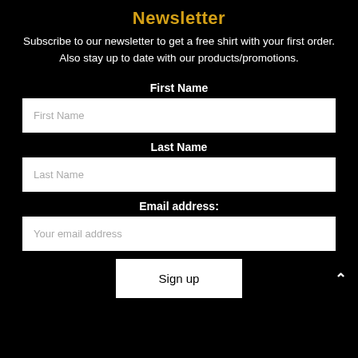Newsletter
Subscribe to our newsletter to get a free shirt with your first order. Also stay up to date with our products/promotions.
First Name
Last Name
Email address:
Sign up